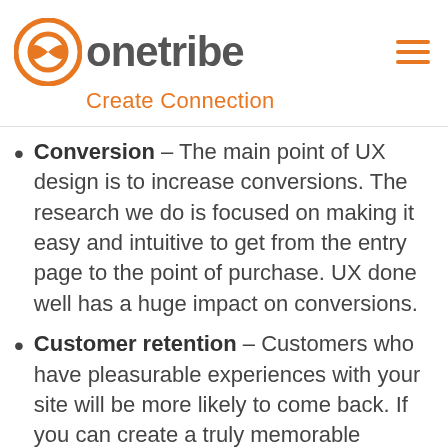[Figure (logo): OneTribe logo with orange circular icon and gray 'onetribe' text, tagline 'Create Connection' in orange]
Conversion – The main point of UX design is to increase conversions. The research we do is focused on making it easy and intuitive to get from the entry page to the point of purchase. UX done well has a huge impact on conversions.
Customer retention – Customers who have pleasurable experiences with your site will be more likely to come back. If you can create a truly memorable experience with it, then you've got them for life.